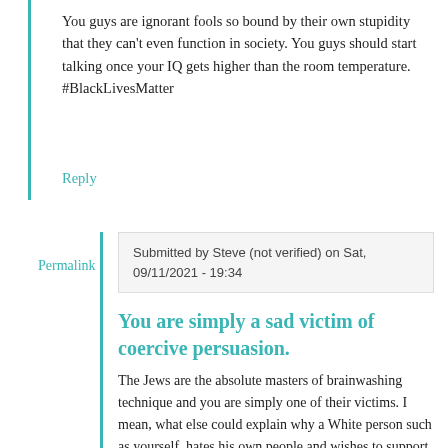You guys are ignorant fools so bound by their own stupidity that they can't even function in society. You guys should start talking once your IQ gets higher than the room temperature. #BlackLivesMatter
Reply
Permalink
Submitted by Steve (not verified) on Sat, 09/11/2021 - 19:34
You are simply a sad victim of coercive persuasion.
The Jews are the absolute masters of brainwashing technique and you are simply one of their victims. I mean, what else could explain why a White person such as yourself, hates his own people and wishes to support a